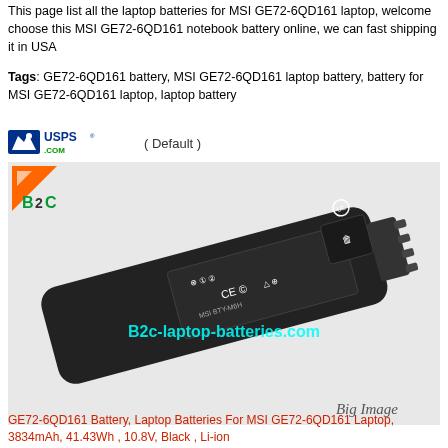This page list all the laptop batteries for MSI GE72-6QD161 laptop, welcome choose this MSI GE72-6QD161 notebook battery online, we can fast shipping it in USA
Tags: GE72-6QD161 battery, MSI GE72-6QD161 laptop battery, battery for MSI GE72-6QD161 laptop, laptop battery
[Figure (logo): USPS.COM logo with eagle icon, followed by text '( Default )']
[Figure (photo): Photo of a black MSI GE72-6QD161 laptop battery with regulatory labels and watermark text 'B2c-laptop-batteries.com' and 'Big Image' in italic text at the bottom right. A small B2C logo with orange triangle is shown in the upper left area of the image.]
GE72-6QD161 Battery, Laptop Batteries For MSI GE72-6QD161 Laptop, 3834mAh, 41.43Wh , 10.8V, Black , Li-ion